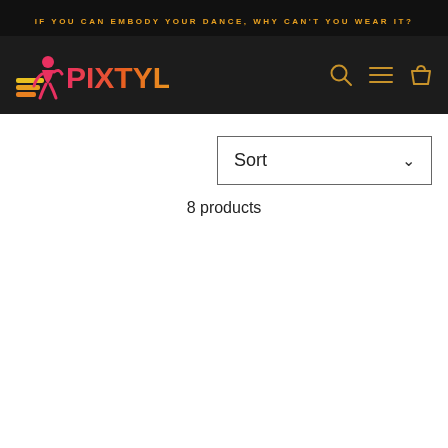IF YOU CAN EMBODY YOUR DANCE, WHY CAN'T YOU WEAR IT?
[Figure (logo): Pixtyles logo with stylized dancer icon and gradient text in pink-orange-yellow]
Sort
8 products